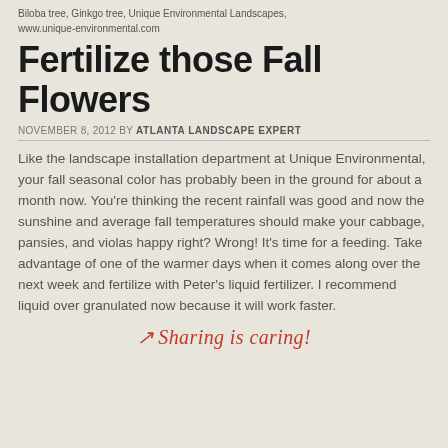Biloba tree, Ginkgo tree, Unique Environmental Landscapes, www.unique-environmental.com
Fertilize those Fall Flowers
NOVEMBER 8, 2012 BY ATLANTA LANDSCAPE EXPERT
Like the landscape installation department at Unique Environmental, your fall seasonal color has probably been in the ground for about a month now. You're thinking the recent rainfall was good and now the sunshine and average fall temperatures should make your cabbage, pansies, and violas happy right? Wrong! It's time for a feeding. Take advantage of one of the warmer days when it comes along over the next week and fertilize with Peter's liquid fertilizer. I recommend liquid over granulated now because it will work faster.
Sharing is caring!